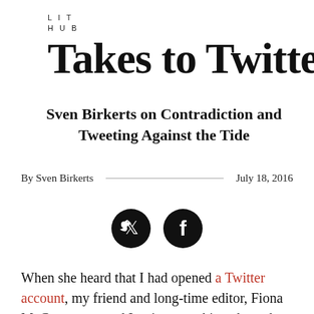LIT
HUB
Takes to Twitter
Sven Birkerts on Contradiction and Tweeting Against the Tide
By Sven Birkerts   ————————————   July 18, 2016
[Figure (other): Twitter and Facebook social sharing icon buttons (black circles with white bird and f icons)]
When she heard that I had opened a Twitter account, my friend and long-time editor, Fiona McCrae suggested I write something about that